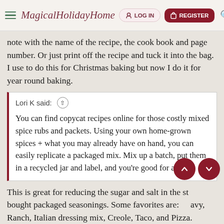MagicalHolidayHome — LOG IN | REGISTER
note with the name of the recipe, the cook book and page number. Or just print off the recipe and tuck it into the bag. I use to do this for Christmas baking but now I do it for year round baking.
Lori K said: ↑

You can find copycat recipes online for those costly mixed spice rubs and packets. Using your own home-grown spices + what you may already have on hand, you can easily replicate a packaged mix. Mix up a batch, put them in a recycled jar and label, and you're good for awhile.
This is great for reducing the sugar and salt in the store bought packaged seasonings. Some favorites are: Gravy, Ranch, Italian dressing mix, Creole, Taco, and Pizza.
I've added more and more plant based protein into our diet to help with the rising cost of beef and chicken. I've substituted lentils for ground beef in meatloaf and meat sauce. Chickpeas/beans go in garden salads, pasta salads